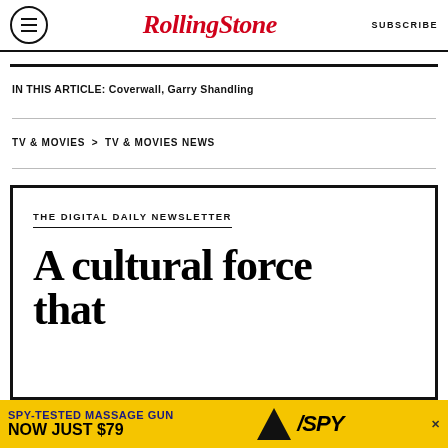RollingStone — SUBSCRIBE
IN THIS ARTICLE:  Coverwall,  Garry Shandling
TV & MOVIES > TV & MOVIES NEWS
THE DIGITAL DAILY NEWSLETTER
A cultural force that
[Figure (infographic): Advertisement banner: SPY-TESTED MASSAGE GUN NOW JUST $79 on yellow background with SPY logo]